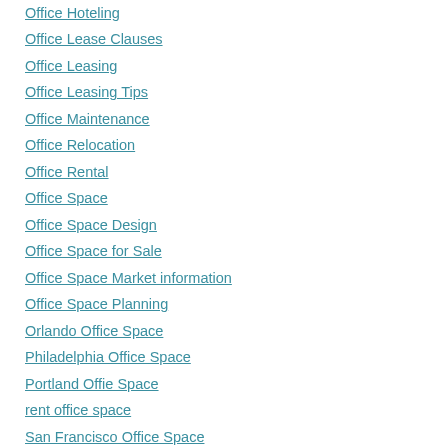Office Hoteling
Office Lease Clauses
Office Leasing
Office Leasing Tips
Office Maintenance
Office Relocation
Office Rental
Office Space
Office Space Design
Office Space for Sale
Office Space Market information
Office Space Planning
Orlando Office Space
Philadelphia Office Space
Portland Offie Space
rent office space
San Francisco Office Space
Seattle Office Space
tenant representative